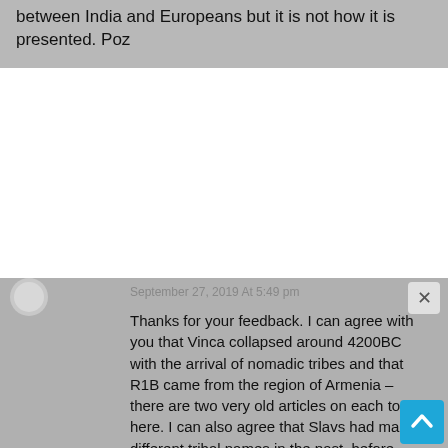between India and Europeans but it is not how it is presented. Poz
September 27, 2019 At 5:49 pm
Thanks for your feedback. I can agree with you that Vinca collapsed around 4200BC with the arrival of nomadic tribes and that R1B came from the region of Armenia – there are two very old articles on each topic here. I can also agree that Slavs had many different tribal names in the past, before being known as Slavs in the 6th century. However, whether the "Slavic" influence came from Balkans or from the steppes is still a matter of debate.

The nomadic horsemen culture surely and without any doubt came from the steppes. Not only that this is the most obvious landscape f...